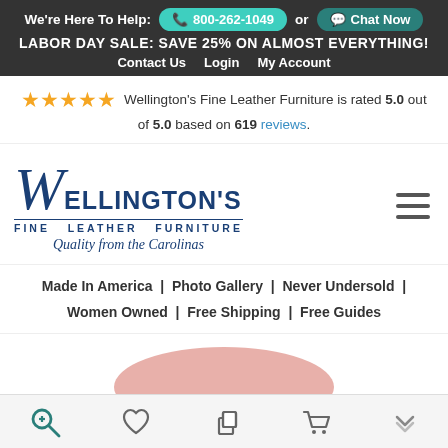We're Here To Help: 800-262-1049 or Chat Now
LABOR DAY SALE: SAVE 25% ON ALMOST EVERYTHING!
Contact Us | Login | My Account
Wellington's Fine Leather Furniture is rated 5.0 out of 5.0 based on 619 reviews.
[Figure (logo): Wellington's Fine Leather Furniture logo with stylized W script, blue text, tagline 'Quality from the Carolinas']
Made In America | Photo Gallery | Never Undersold | Women Owned | Free Shipping | Free Guides
[Figure (photo): Partial view of a pink/rose leather furniture piece at bottom of page]
Bottom toolbar with search, wishlist, copy, cart, and chevron icons